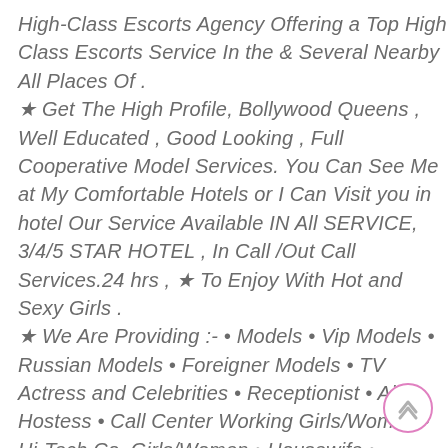High-Class Escorts Agency Offering a Top High Class Escorts Service In the & Several Nearby All Places Of . ★ Get The High Profile, Bollywood Queens , Well Educated , Good Looking , Full Cooperative Model Services. You Can See Me at My Comfortable Hotels or I Can Visit you in hotel Our Service Available IN All SERVICE, 3/4/5 STAR HOTEL , In Call /Out Call Services.24 hrs , ★ To Enjoy With Hot and Sexy Girls . ★ We Are Providing :- • Models • Vip Models • Russian Models • Foreigner Models • TV Actress and Celebrities • Receptionist • Air Hostess • Call Center Working Girls/Women • Hi-Tech Co. Girls/Women • Housewife • Collage Going Girls. • Travelling Escorts. • Ramp-Models • Foreigner And Many More.. Incall & Outcall Available… • INDEPENDENT GIRLS / HOUSE WIFES ★OUR BEST SERVICES: – FOR BOOKING CALL MR.